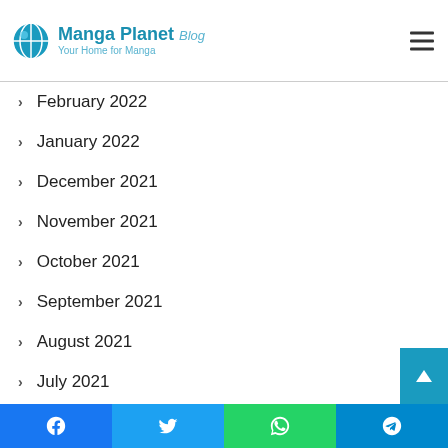Manga Planet Blog — Your Home for Manga
February 2022
January 2022
December 2021
November 2021
October 2021
September 2021
August 2021
July 2021
June 2021
May 2021
April 2021
March 2021
Facebook | Twitter | WhatsApp | Telegram